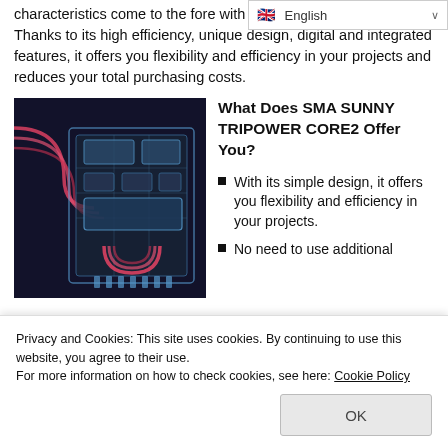characteristics come to the fore with TRIOPOWER CORE2. Thanks to its high efficiency, unique design, digital and integrated features, it offers you flexibility and efficiency in your projects and reduces your total purchasing costs.
[Figure (photo): Close-up photo of SMA SUNNY TRIPOWER CORE2 inverter hardware with glowing red circuit lines on dark background]
What Does SMA SUNNY TRIPOWER CORE2 Offer You?
With its simple design, it offers you flexibility and efficiency in your projects.
No need to use additional
Privacy and Cookies: This site uses cookies. By continuing to use this website, you agree to their use.
For more information on how to check cookies, see here: Cookie Policy
highest performance and energy production even in shady